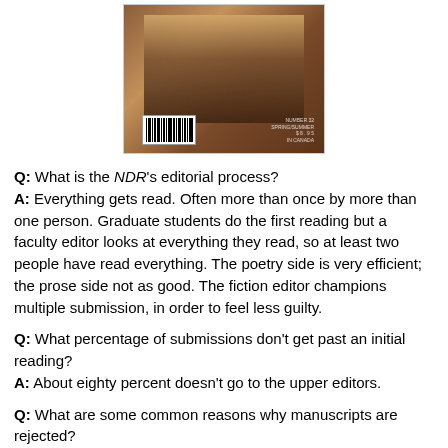[Figure (photo): Back cover of NDR literary magazine showing a barcode and brown/wood-toned background]
Q: What is the NDR's editorial process?
A: Everything gets read. Often more than once by more than one person. Graduate students do the first reading but a faculty editor looks at everything they read, so at least two people have read everything. The poetry side is very efficient; the prose side not as good. The fiction editor champions multiple submission, in order to feel less guilty.
Q: What percentage of submissions don't get past an initial reading?
A: About eighty percent doesn't go to the upper editors.
Q: What are some common reasons why manuscripts are rejected?
A: It's the usual mix of reasons: subject, execution, reach, level of accomplishment, general literacy and effect.